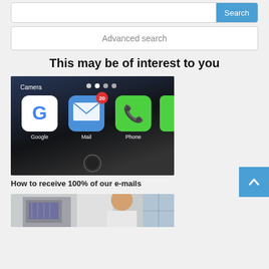Advanced search
This may be of interest to you
[Figure (photo): Close-up of a smartphone screen showing app icons: Google, Mail (with 20 notifications badge), Phone, and a partially visible green app. Camera app label visible at top.]
How to receive 100% of our e-mails
[Figure (photo): Person standing next to medical or industrial equipment/machine]